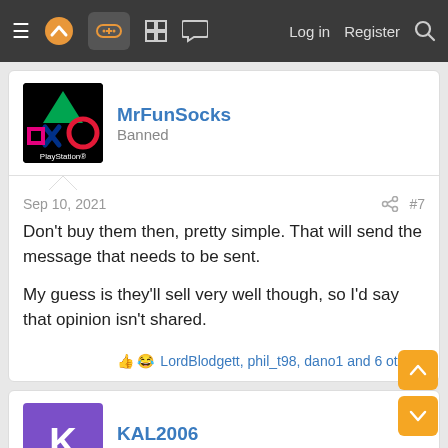≡ [logo] [gamepad icon] [grid icon] [chat icon]   Log in   Register   [search]
MrFunSocks
Banned
Sep 10, 2021   #7
Don't buy them then, pretty simple. That will send the message that needs to be sent.

My guess is they'll sell very well though, so I'd say that opinion isn't shared.
👍 😂 LordBlodgett, phil_t98, dano1 and 6 others
KAL2006
Banned